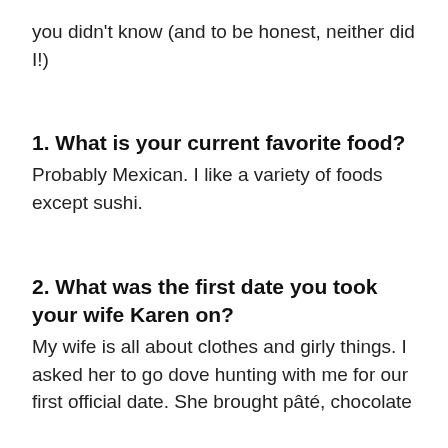you didn't know (and to be honest, neither did I!)
1. What is your current favorite food?
Probably Mexican. I like a variety of foods except sushi.
2. What was the first date you took your wife Karen on?
My wife is all about clothes and girly things. I asked her to go dove hunting with me for our first official date. She brought pâté, chocolate